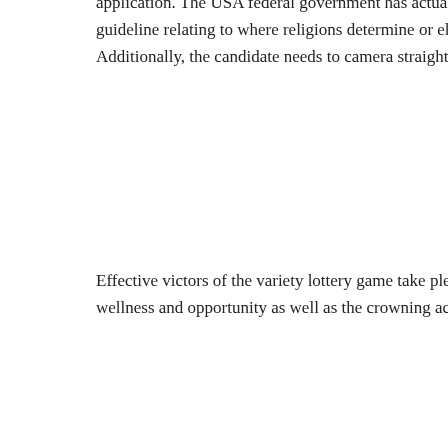application. The USA federal government has actually put down variety lotto application. There are rigorous guideline relating to where religions determine or else, the candidate's face must be not be curtained or covered. Additionally, the candidate needs to camera straight as image(s) taken with side positions are declined.
Effective victors of the variety lottery game take pleasure in all an American permit owner, that includes health and wellness and opportunity as well as the crowning achievement is that they can of ending up being an USA person.
Unlike various other permit application the variety lotto application simple to fill up. However treatment needs to be required to pre factor is since several applications are denied as a result of small candidate, excellent treatment needs to be taken while preparing publishing the images.
This entry was posted in Casino. Bookmark the permalink.